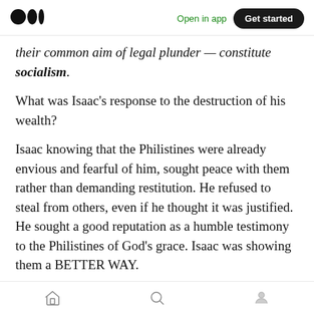Medium logo | Open in app | Get started
their common aim of legal plunder — constitute socialism.
What was Isaac's response to the destruction of his wealth?
Isaac knowing that the Philistines were already envious and fearful of him, sought peace with them rather than demanding restitution. He refused to steal from others, even if he thought it was justified. He sought a good reputation as a humble testimony to the Philistines of God's grace. Isaac was showing them a BETTER WAY.
Home | Search | Profile